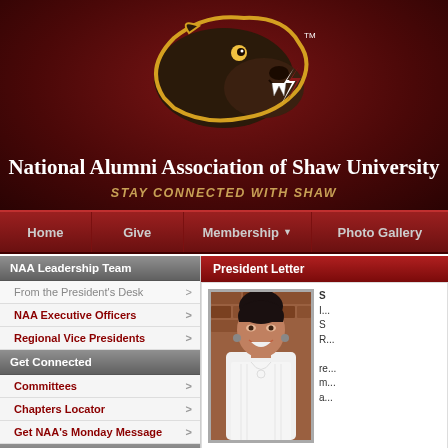[Figure (logo): Shaw University bear mascot logo with gold outline on dark maroon background]
National Alumni Association of Shaw University
STAY CONNECTED WITH SHAW
Home | Give | Membership | Photo Gallery
NAA Leadership Team
From the President's Desk
NAA Executive Officers
Regional Vice Presidents
Get Connected
Committees
Chapters Locator
Get NAA's Monday Message
Join Us
President Letter
[Figure (photo): Woman in white dress smiling, standing against brick wall background]
S
I...
S
R...
re...
m...
a...